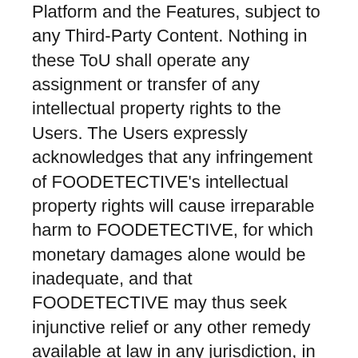Platform and the Features, subject to any Third-Party Content. Nothing in these ToU shall operate any assignment or transfer of any intellectual property rights to the Users. The Users expressly acknowledges that any infringement of FOODETECTIVE's intellectual property rights will cause irreparable harm to FOODETECTIVE, for which monetary damages alone would be inadequate, and that FOODETECTIVE may thus seek injunctive relief or any other remedy available at law in any jurisdiction, in case of such infringement. Should the User become aware of any infringement or imminent risk of any infringement of any intellectual property rights pertaining to the FOODETECTIVE FOR BUSINESS Platform or the Features, the User shall immediately inform FOODETECTIVE and provide all useful information on such infringement or risk of infringement. FOODETECTIVE shall have the exclusive power to decide on any action to be taken with respect to such infringement or risk of infringement. User shall, at its own costs, provide